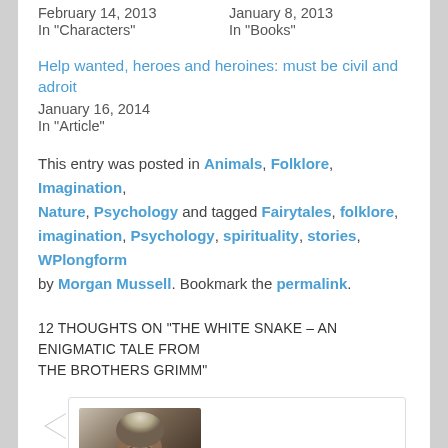February 14, 2013
In "Characters"
January 8, 2013
In "Books"
Help wanted, heroes and heroines: must be civil and adroit
January 16, 2014
In "Article"
This entry was posted in Animals, Folklore, Imagination, Nature, Psychology and tagged Fairytales, folklore, imagination, Psychology, spirituality, stories, WPlongform by Morgan Mussell. Bookmark the permalink.
12 THOUGHTS ON "THE WHITE SNAKE – AN ENIGMATIC TALE FROM THE BROTHERS GRIMM"
[Figure (photo): A portrait photo of a person with light hair, appearing young, shown from shoulders up, in a comment section avatar.]